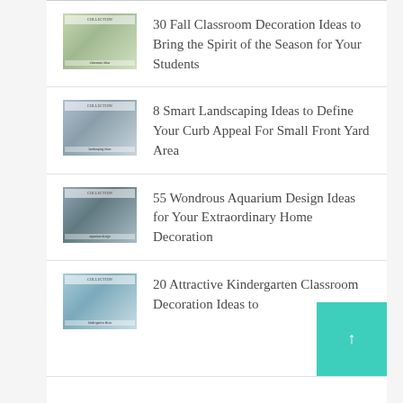30 Fall Classroom Decoration Ideas to Bring the Spirit of the Season for Your Students
8 Smart Landscaping Ideas to Define Your Curb Appeal For Small Front Yard Area
55 Wondrous Aquarium Design Ideas for Your Extraordinary Home Decoration
20 Attractive Kindergarten Classroom Decoration Ideas to